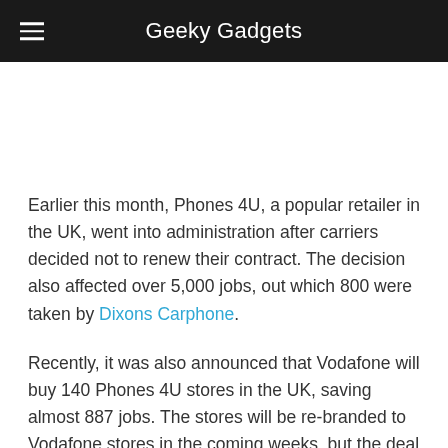Geeky Gadgets
Earlier this month, Phones 4U, a popular retailer in the UK, went into administration after carriers decided not to renew their contract. The decision also affected over 5,000 jobs, out which 800 were taken by Dixons Carphone.
Recently, it was also announced that Vodafone will buy 140 Phones 4U stores in the UK, saving almost 887 jobs. The stores will be re-branded to Vodafone stores in the coming weeks, but the deal is awaiting court approval.
The company's administrator approached Vodafone, who agreed to take on 140 stores of the retailer. There's no word which stores